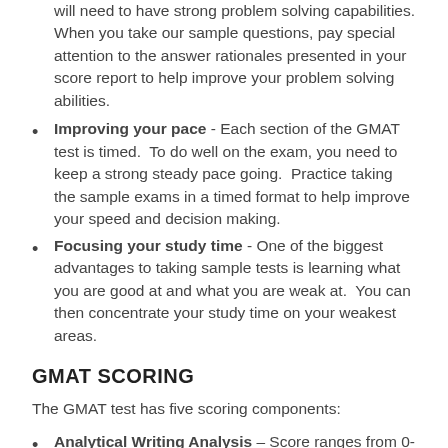will need to have strong problem solving capabilities. When you take our sample questions, pay special attention to the answer rationales presented in your score report to help improve your problem solving abilities.
Improving your pace - Each section of the GMAT test is timed.  To do well on the exam, you need to keep a strong steady pace going.  Practice taking the sample exams in a timed format to help improve your speed and decision making.
Focusing your study time - One of the biggest advantages to taking sample tests is learning what you are good at and what you are weak at.  You can then concentrate your study time on your weakest areas.
GMAT SCORING
The GMAT test has five scoring components:
Analytical Writing Analysis – Score ranges from 0-6.
Integrated Reasoning – Score ranges from 1-8.
Verbal Reasoning – Score ranges from 0-60.